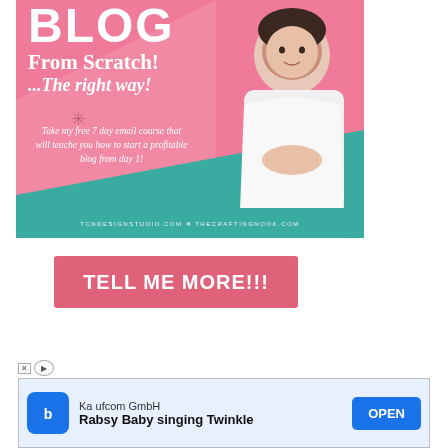[Figure (illustration): Pink promotional banner for a blog course showing 'BLOG From Scratch! ...The right way!' with a woman in white off-shoulder top, teal footer strip with website URLs: TCNDESIGNSTUDIO.COM and THECRAFTINGNOOK.COM]
TELL ME MORE!!!
[Figure (screenshot): Mobile advertisement banner: Kaufcom GmbH - Rabsy Baby singing Twinkle - OPEN button]